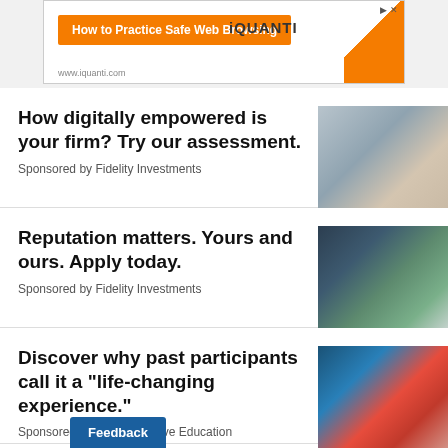[Figure (screenshot): iQuanti ad banner: orange button 'How to Practice Safe Web Browsing', iQUANTI logo, orange triangle, www.iquanti.com URL]
How digitally empowered is your firm? Try our assessment.
Sponsored by Fidelity Investments
[Figure (photo): Woman in business attire at computer, office setting]
Reputation matters. Yours and ours. Apply today.
Sponsored by Fidelity Investments
[Figure (photo): Two women in a meeting at a table with laptop, office with glass walls]
Discover why past participants call it a "life-changing experience."
Sponsored by HBS Executive Education
[Figure (photo): Woman in classroom raising hand, students in education setting]
Feedback